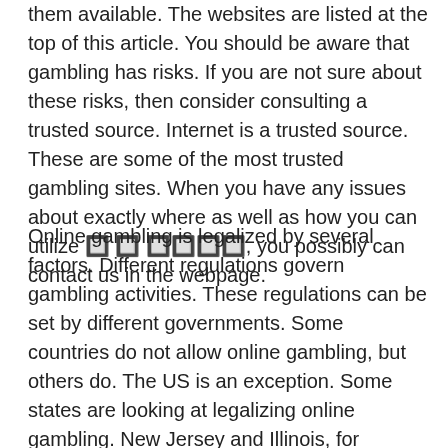them available. The websites are listed at the top of this article. You should be aware that gambling has risks. If you are not sure about these risks, then consider consulting a trusted source. Internet is a trusted source. These are some of the most trusted gambling sites. When you have any issues about exactly where as well as how you can utilize [green link text], you possibly can contact us in the webpage.
Online gambling is legalized by several factors. Different regulations govern gambling activities. These regulations can be set by different governments. Some countries do not allow online gambling, but others do. The US is an exception. Some states are looking at legalizing online gambling. New Jersey and Illinois, for example, have already passed legislation that allows online gambling. Online gambling is now legal in Delaware, New Jersey and Pennsylvania. Moreover, the Supreme Court has overturned a 1992 federal ban on sports betting, which was based on the Wire Act.